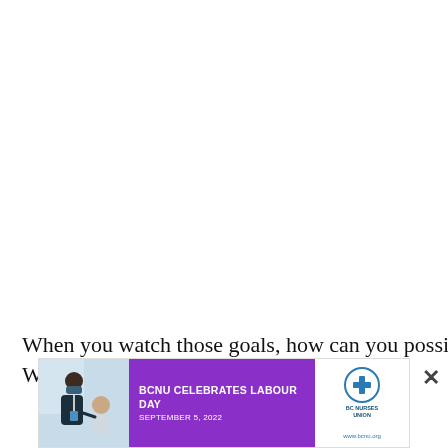When you watch those goals, how can you possibly keep yourself from thinking of Ovechkin? While the Washington
[Figure (photo): Advertisement banner: BCNU Celebrates Labour Day, September 5, 2022. Shows a nurse in a mask with a patient, purple background with text, and BC Nurses Union logo.]